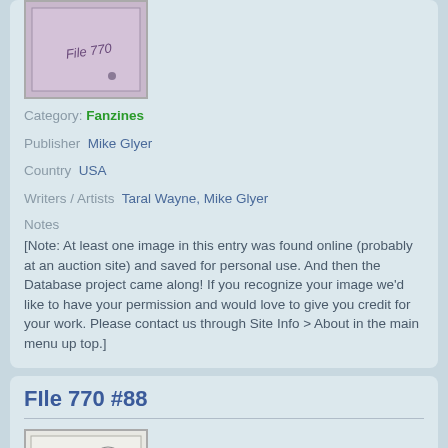[Figure (photo): Cover image of File 770 fanzine with purple/pink background and handwritten text 'File 770']
Category: Fanzines
Publisher  Mike Glyer
Country  USA
Writers / Artists  Taral Wayne, Mike Glyer
Notes
[Note: At least one image in this entry was found online (probably at an auction site) and saved for personal use. And then the Database project came along! If you recognize your image we'd like to have your permission and would love to give you credit for your work. Please contact us through Site Info > About in the main menu up top.]
FIle 770 #88
[Figure (photo): Cover image of File 770 #88 fanzine with line drawing illustration]